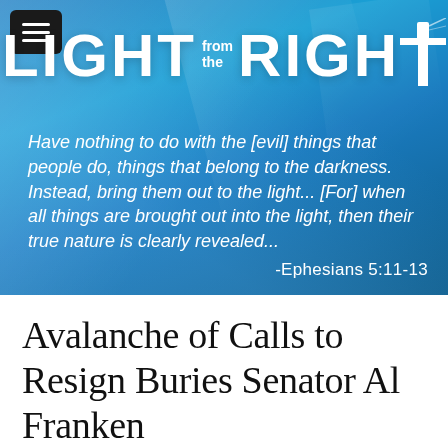[Figure (logo): Light from the Right website logo with lighthouse icon on blue background]
Have nothing to do with the [evil] things that people do, things that belong to the darkness. Instead, bring them out to the light... [For] when all things are brought out into the light, then their true nature is clearly revealed...
-Ephesians 5:11-13
Avalanche of Calls to Resign Buries Senator Al Franken